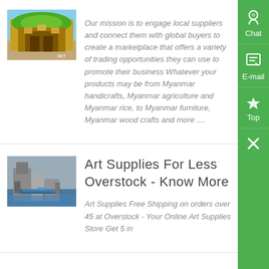[Figure (photo): Photo of a colorful building/market stall with yellow and green tones, possibly a Myanmar marketplace, in an outdoor sandy setting.]
Our mission is to engage local suppliers and connect them with global buyers to create a marketplace that offers a variety of trading opportunities they can use to promote their business Whatever your products may be from Myanmar handicrafts, Myanmar agriculture and Myanmar rice, to Myanmar furniture, Myanmar wood crafts and more ....
[Figure (photo): Photo of an industrial facility or mining/manufacturing plant with large machinery and blue containers.]
Art Supplies For Less Overstock - Know More
Art Supplies Free Shipping on orders over 45 at Overstock - Your Online Art Supplies Store Get 5 in